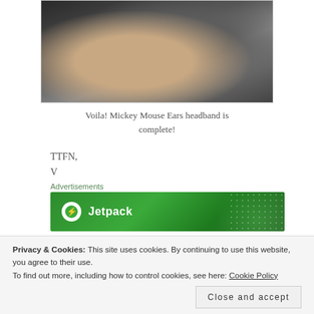[Figure (photo): A hand holding a Mickey Mouse ears headband in a dark setting]
Voila! Mickey Mouse Ears headband is complete!
TTFN,
V
Advertisements
[Figure (logo): Jetpack advertisement banner with green background and Jetpack logo/text]
Privacy & Cookies: This site uses cookies. By continuing to use this website, you agree to their use.
To find out more, including how to control cookies, see here: Cookie Policy
Close and accept